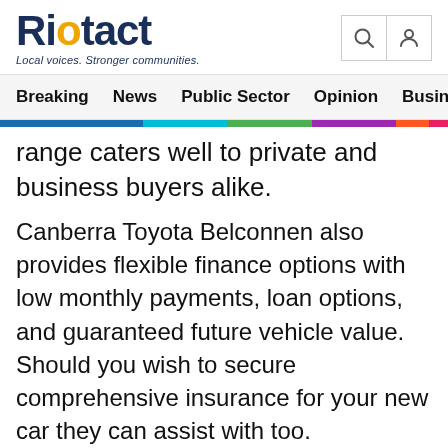Riotact — Local voices. Stronger communities.
Breaking | News | Public Sector | Opinion | Business
range caters well to private and business buyers alike.
Canberra Toyota Belconnen also provides flexible finance options with low monthly payments, loan options, and guaranteed future vehicle value. Should you wish to secure comprehensive insurance for your new car they can assist with too.
For assurance of quality Canberra Toyota